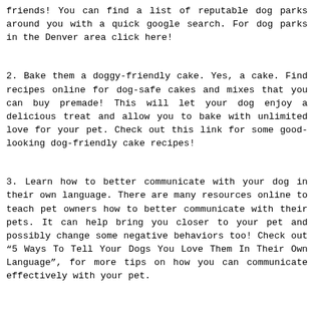friends! You can find a list of reputable dog parks around you with a quick google search. For dog parks in the Denver area click here!
2. Bake them a doggy-friendly cake. Yes, a cake. Find recipes online for dog-safe cakes and mixes that you can buy premade! This will let your dog enjoy a delicious treat and allow you to bake with unlimited love for your pet. Check out this link for some good-looking dog-friendly cake recipes!
3. Learn how to better communicate with your dog in their own language. There are many resources online to teach pet owners how to better communicate with their pets. It can help bring you closer to your pet and possibly change some negative behaviors too! Check out “5 Ways To Tell Your Dogs You Love Them In Their Own Language”, for more tips on how you can communicate effectively with your pet.